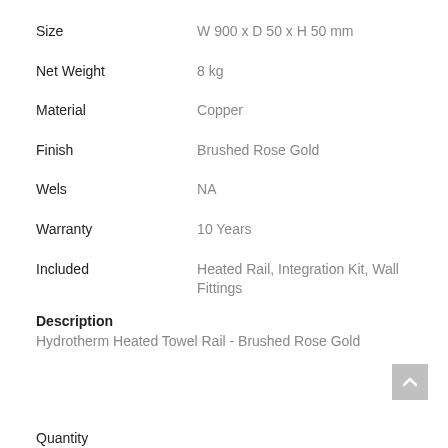| Size | W 900 x D 50 x H 50 mm |
| Net Weight | 8 kg |
| Material | Copper |
| Finish | Brushed Rose Gold |
| Wels | NA |
| Warranty | 10 Years |
| Included | Heated Rail, Integration Kit, Wall Fittings |
Description
Hydrotherm Heated Towel Rail - Brushed Rose Gold
Quantity